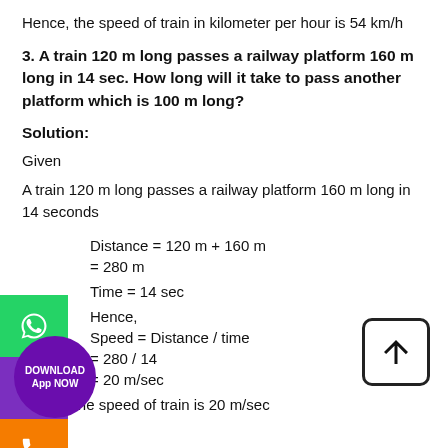Hence, the speed of train in kilometer per hour is 54 km/h
3. A train 120 m long passes a railway platform 160 m long in 14 sec. How long will it take to pass another platform which is 100 m long?
Solution:
Given
A train 120 m long passes a railway platform 160 m long in 14 seconds
Distance = 120 m + 160 m
= 280 m
Time = 14 sec
Hence,
Speed = Distance / time
= 280 / 14
= 20 m/sec
Hence, the speed of train is 20 m/sec